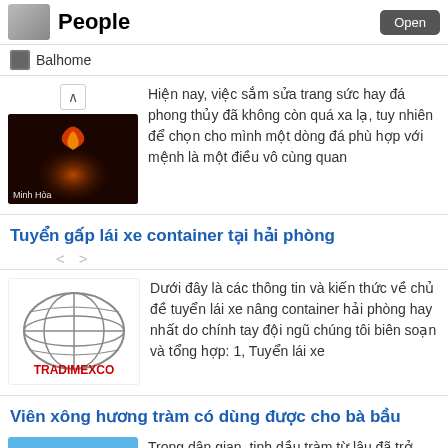People | Open | Balhome
Hiện nay, việc sắm sửa trang sức hay đá phong thủy đã không còn quá xa lạ, tuy nhiên để chọn cho mình một dòng đá phù hợp với mệnh là một điều vô cùng quan
Tuyển gấp lái xe container tại hải phòng
Dưới đây là các thông tin và kiến thức về chủ đề tuyển lái xe nâng container hải phòng hay nhất do chính tay đội ngũ chúng tôi biên soạn và tổng hợp: 1, Tuyển lái xe
Viên xông hương tràm có dùng được cho bà bầu
Trong dân gian, tinh dầu tràm từ lâu đã trở thành dược liệu quý, sản phẩm từ thiên nhiên vô cùng lành tính, phòng chống được